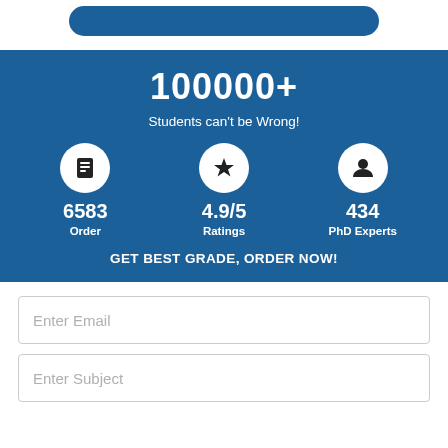[Figure (other): Partially visible blue rounded button at top of page]
100000+
Students can't be Wrong!
[Figure (infographic): Three stat items: 6583 Orders with book icon, 4.9/5 Ratings with star icon, 434 PhD Experts with person icon]
GET BEST GRADE, ORDER NOW!
Enter Email
Enter Subject